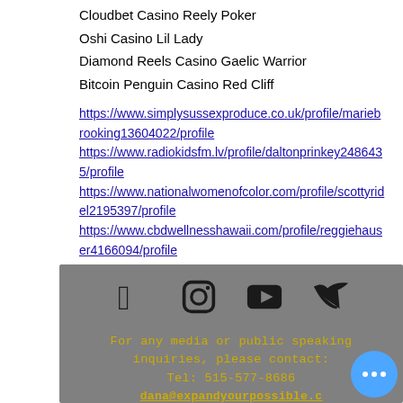Cloudbet Casino Reely Poker
Oshi Casino Lil Lady
Diamond Reels Casino Gaelic Warrior
Bitcoin Penguin Casino Red Cliff
https://www.simplysussexproduce.co.uk/profile/mariebrooking13604022/profile
https://www.radiokidsfm.lv/profile/daltonprinkey2486435/profile
https://www.nationalwomenofcolor.com/profile/scottyridel2195397/profile
https://www.cbdwellnesshawaii.com/profile/reggiehauser4166094/profile
[Figure (infographic): Social media icons row: Facebook, Instagram, YouTube, Twitter on grey background]
For any media or public speaking inquiries, please contact:
Tel: 515-577-8686
dana@expandyourpossible.com